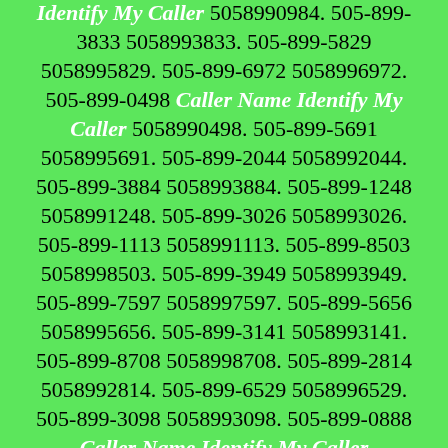Identify My Caller 5058990984. 505-899-3833 5058993833. 505-899-5829 5058995829. 505-899-6972 5058996972. 505-899-0498 Caller Name Identify My Caller 5058990498. 505-899-5691 5058995691. 505-899-2044 5058992044. 505-899-3884 5058993884. 505-899-1248 5058991248. 505-899-3026 5058993026. 505-899-1113 5058991113. 505-899-8503 5058998503. 505-899-3949 5058993949. 505-899-7597 5058997597. 505-899-5656 5058995656. 505-899-3141 5058993141. 505-899-8708 5058998708. 505-899-2814 5058992814. 505-899-6529 5058996529. 505-899-3098 5058993098. 505-899-0888 Caller Name Identify My Caller 5058990888. 505-899-6178 5058996178. 505-899-2105 5058992105. 505-899-1655 5058991655. 505-899-3825 5058993825. 505-899-0689 Caller Name Identify My Caller 5058990689. 505-